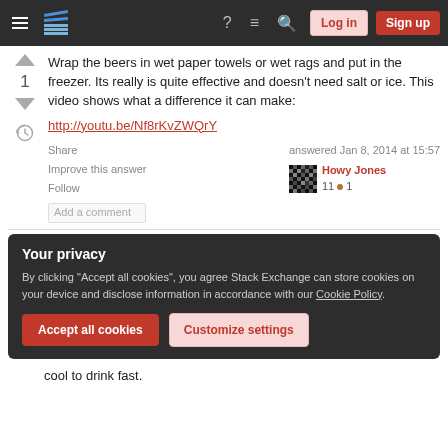Stack Exchange navigation bar with Log in and Sign up buttons
Wrap the beers in wet paper towels or wet rags and put in the freezer. Its really is quite effective and doesn't need salt or ice. This video shows what a difference it can make:
http://youtu.be/Nf8rKvZWQrY
Share | Improve this answer | Follow | Add a comment
answered Jan 8, 2014 at 15:57 Howy Jones 11 ●1
Your privacy
By clicking "Accept all cookies", you agree Stack Exchange can store cookies on your device and disclose information in accordance with our Cookie Policy.
Accept all cookies | Customize settings
cool to drink fast.